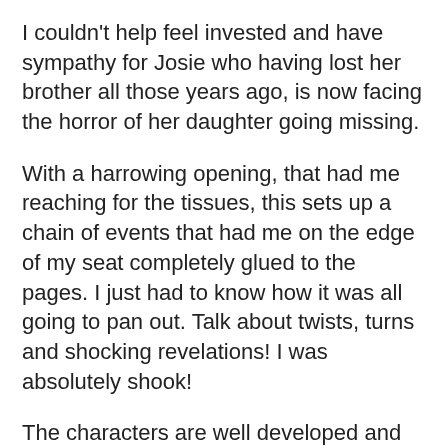I couldn't help feel invested and have sympathy for Josie who having lost her brother all those years ago, is now facing the horror of her daughter going missing.
With a harrowing opening, that had me reaching for the tissues, this sets up a chain of events that had me on the edge of my seat completely glued to the pages. I just had to know how it was all going to pan out. Talk about twists, turns and shocking revelations! I was absolutely shook!
The characters are well developed and not all likeable. The narration is divided up between Josie, Samual's mother Maggie, Samual and DI Helena Price, which gives the reader a good scope, especially when we are transported to the past as we learn of both Josie and Samual's